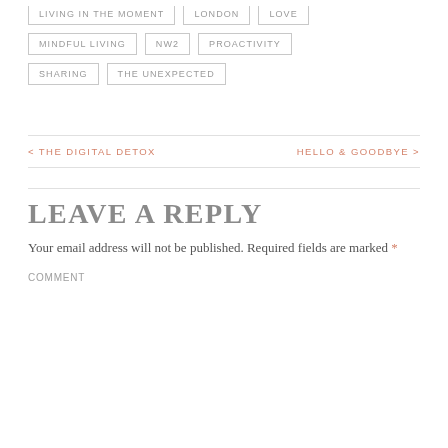LIVING IN THE MOMENT   LONDON   LOVE
MINDFUL LIVING   NW2   PROACTIVITY
SHARING   THE UNEXPECTED
< THE DIGITAL DETOX   HELLO & GOODBYE >
LEAVE A REPLY
Your email address will not be published. Required fields are marked *